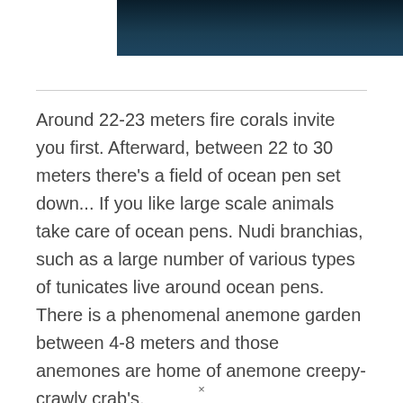[Figure (photo): Dark underwater/ocean photograph cropped at the top of the page]
Around 22-23 meters fire corals invite you first. Afterward, between 22 to 30 meters there's a field of ocean pen set down... If you like large scale animals take care of ocean pens. Nudi branchias, such as a large number of various types of tunicates live around ocean pens. There is a phenomenal anemone garden between 4-8 meters and those anemones are home of anemone creepy-crawly crab's.